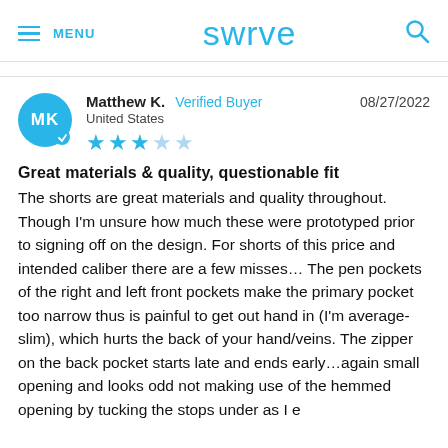MENU   swrve   [search icon]
Matthew K.   Verified Buyer   08/27/2022
United States
★★★☆☆
Great materials & quality, questionable fit
The shorts are great materials and quality throughout. Though I'm unsure how much these were prototyped prior to signing off on the design. For shorts of this price and intended caliber there are a few misses… The pen pockets of the right and left front pockets make the primary pocket too narrow thus is painful to get out hand in (I'm average-slim), which hurts the back of your hand/veins. The zipper on the back pocket starts late and ends early…again small opening and looks odd not making use of the hemmed opening by tucking the stops under as I e